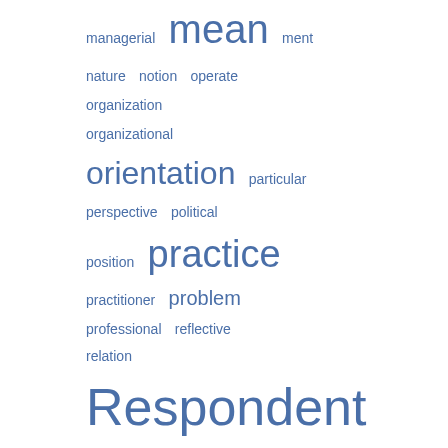[Figure (other): Word cloud (partial, right side of page) showing terms in varying sizes indicating frequency/importance. Terms include: managerial, mean, ment, nature, notion, operate, organization, organizational, orientation, particular, perspective, political, position, practice, practitioner, problem, professional, reflective, relation, Respondent, Respondent 12, Respondent 27, role, seen, sense, situation, skills, social, sort, staff development, strategic, structure, suggests, talk, teaching, teaching and]